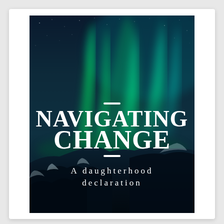[Figure (illustration): Book cover with aurora borealis (northern lights) over snowy landscape at night. Title reads 'NAVIGATING CHANGE' in large white serif font with decorative dashes above and below. Subtitle reads 'A daughterhood declaration' in white spaced serif text.]